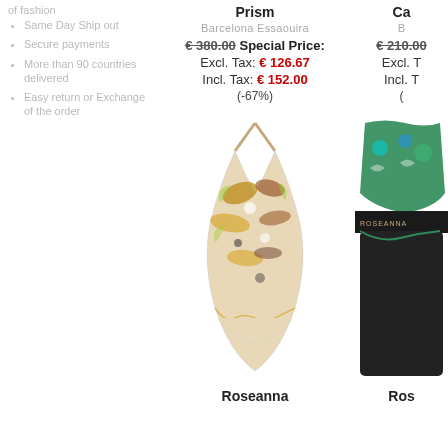of fashion
Same Day Ship out
Secure payments
More than 90 countries delivered
Easy return or Exchange of the order
Prism
Barcelona Essaouira
€ 380.00 Special Price: Excl. Tax: € 126.67 Incl. Tax: € 152.00 (-67%)
Ca
B
€ 210.00 Excl. T Incl. T (
[Figure (photo): Floral patterned halter-neck one-piece swimsuit by Roseanna]
[Figure (photo): Green and black patterned one-piece swimsuit by Roseanna]
Roseanna
Ros